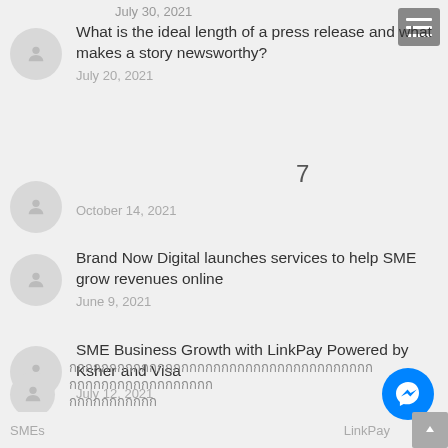July 30, 2021
What is the ideal length of a press release and what makes a story newsworthy?
July 20, 2021
7
October 14, 2021
Brand Now Digital launches services to help SME grow revenues online
June 9, 2021
SME Business Growth with LinkPay Powered by Ksher and Visa
July 12, 2021
กกกกกกกกกกกกกกกกกกกกกกกกกกกกกกกกกกกกกกกกกกกกกกกกกกกกกกกก
กกกกกกกกกกก
July 30, 2021